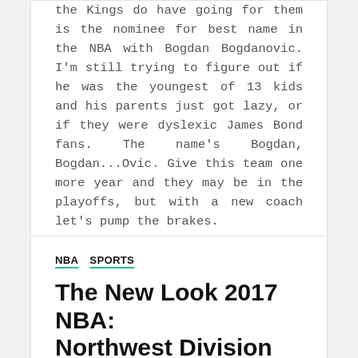the Kings do have going for them is the nominee for best name in the NBA with Bogdan Bogdanovic. I'm still trying to figure out if he was the youngest of 13 kids and his parents just got lazy, or if they were dyslexic James Bond fans. The name's Bogdan, Bogdan...Ovic. Give this team one more year and they may be in the playoffs, but with a new coach let's pump the brakes.
NBA  SPORTS
The New Look 2017 NBA: Northwest Division (Part 2 of 2)